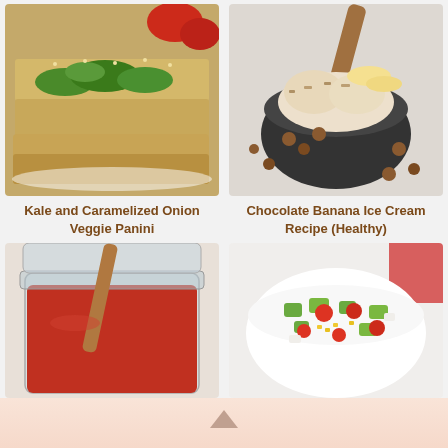[Figure (photo): Kale and Caramelized Onion Veggie Panini sandwich on a white plate with tomatoes in background]
[Figure (photo): Chocolate Banana Ice Cream in a dark bowl with wooden spoon, banana slices, hazelnuts and oats on top]
Kale and Caramelized Onion Veggie Panini
Chocolate Banana Ice Cream Recipe (Healthy)
[Figure (photo): Tomato sauce in a glass jar with a wooden spatula]
[Figure (photo): Fresh salad with cucumber, tomatoes, corn and feta in a white bowl]